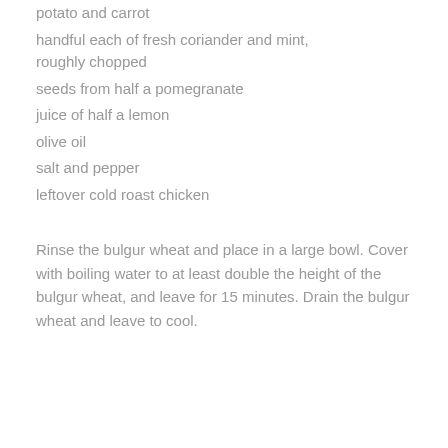potato and carrot
handful each of fresh coriander and mint, roughly chopped
seeds from half a pomegranate
juice of half a lemon
olive oil
salt and pepper
leftover cold roast chicken
Rinse the bulgur wheat and place in a large bowl. Cover with boiling water to at least double the height of the bulgur wheat, and leave for 15 minutes. Drain the bulgur wheat and leave to cool.